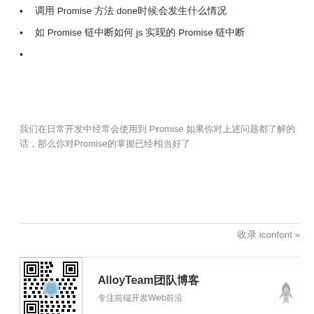调用 Promise 方法 done时候会发生什么情况
如 Promise 链中断如何 js 实现的 Promise 链中断
我们在日常开发中经常会使用到 Promise 如果你对上述问题都了解的话，那么你对Promise的掌握已经相当好了
收录 iconfont »
[Figure (other): QR code for AlloyTeam WeChat public account]
AlloyTeam团队博客
专注前端开发Web前沿
[Figure (logo): Rocket/WordPress logo icon at bottom right]